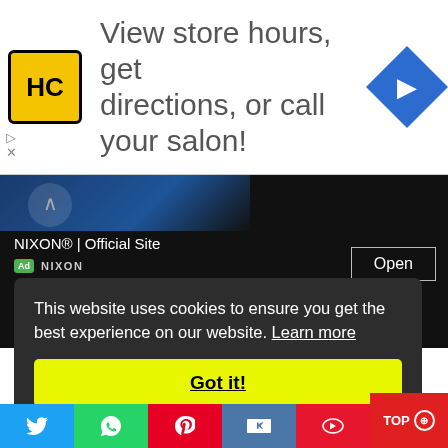[Figure (screenshot): Advertisement banner with HC logo and text 'View store hours, get directions, or call your salon!' with navigation icon]
NIXON® | Official Site
Ad NIXON
Open
This website uses cookies to ensure you get the best experience on our website. Learn more
Got it!
TOP
[Figure (screenshot): Social share buttons: Twitter, WhatsApp, Pinterest, VK, Weibo]